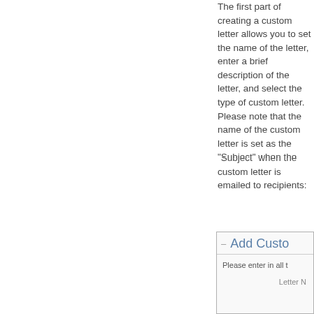The first part of creating a custom letter allows you to set the name of the letter, enter a brief description of the letter, and select the type of custom letter. Please note that the name of the custom letter is set as the "Subject" when the custom letter is emailed to recipients:
[Figure (screenshot): Screenshot of 'Add Custom Letter' dialog box showing title bar with dash icon and blue heading text 'Add Custo...', a subtitle 'Please enter in all t...', and a field label 'Letter N...']